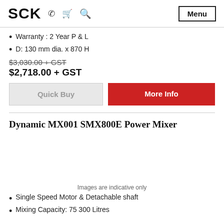SCK  Menu
Warranty : 2 Year P & L
D: 130 mm dia. x 870 H
$3,030.00 + GST
$2,718.00 + GST
Quick Buy   More Info
Dynamic MX001 SMX800E Power Mixer
Images are indicative only
Single Speed Motor & Detachable shaft
Mixing Capacity: 75 300 Litres